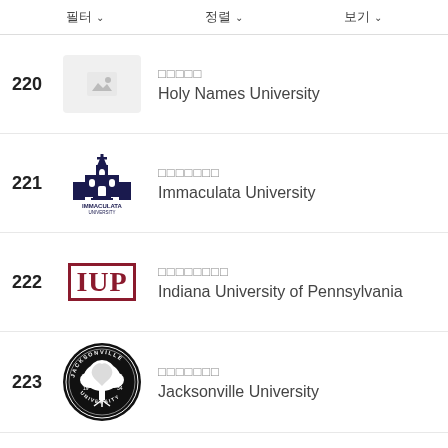필터   정렬   보기
220 Holy Names University
221 Immaculata University
222 Indiana University of Pennsylvania
223 Jacksonville University
224 King University